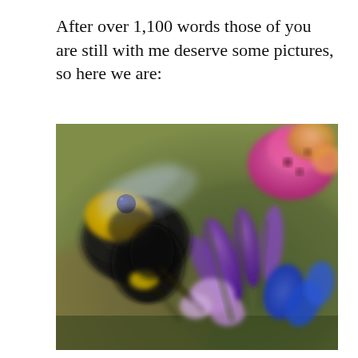After over 1,100 words those of you are still with me deserve some pictures, so here we are:
[Figure (photo): Close-up macro photograph of a bumblebee on purple and pink flowers. The bee is on the left side with yellow and black coloring, wings slightly blurred suggesting motion. The flowers are vivid purple, blue, and pink tubular blooms. The background is blurred green and brown tones. The image has a shallow depth of field.]